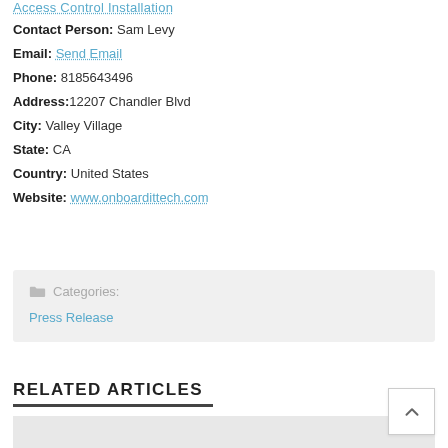Access Control Installation
Contact Person: Sam Levy
Email: Send Email
Phone: 8185643496
Address: 12207 Chandler Blvd
City: Valley Village
State: CA
Country: United States
Website: www.onboardittech.com
Categories:
Press Release
RELATED ARTICLES